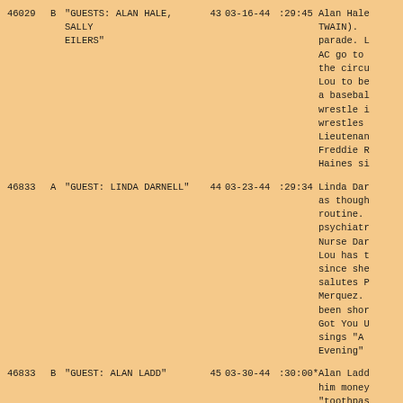| ID | Side | Title | Ep | Date | Duration | Description |
| --- | --- | --- | --- | --- | --- | --- |
| 46029 | B | "GUESTS: ALAN HALE, SALLY EILERS" | 43 | 03-16-44 | :29:45 | Alan Hale TWAIN). parade. L AC go to the circu Lou to be a basebal wrestle i wrestles Lieutenan Freddie R Haines si |
| 46833 | A | "GUEST: LINDA DARNELL" | 44 | 03-23-44 | :29:34 | Linda Dar as though routine. psychiatr Nurse Dar Lou has t since she salutes P Merquez. been shor Got You U sings "A Evening" |
| 46833 | B | "GUEST: ALAN LADD" | 45 | 03-30-44 | :30:00* | Alan Ladd him money "toothpas radio sta other hal There is announcin the radio being rob job. Alan tries out made a mi million d |